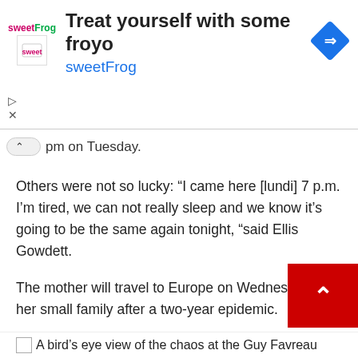[Figure (screenshot): Ad banner for sweetFrog frozen yogurt with logo, text 'Treat yourself with some froyo' and 'sweetFrog', and a blue diamond navigation icon]
pm on Tuesday.
Others were not so lucky: “I came here [lundi] 7 p.m. I’m tired, we can not really sleep and we know it’s going to be the same again tonight, “said Ellis Gowdett.
The mother will travel to Europe on Wednesday with her small family after a two-year epidemic.
A noise
Several campers described the chaotic scene when security guards opened the doors of the Guy-Fauro complex on Tuesday morning.
A bird’s eye view of the chaos at the Guy Favreau